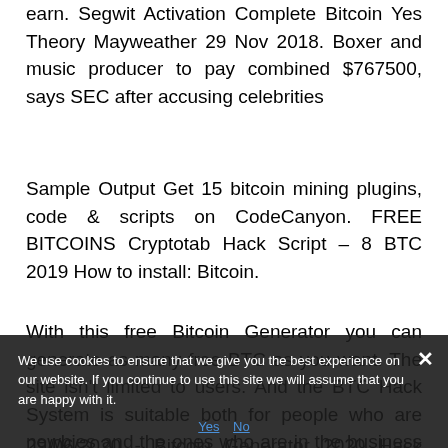earn. Segwit Activation Complete Bitcoin Yes Theory Mayweather 29 Nov 2018. Boxer and music producer to pay combined $767500, says SEC after accusing celebrities
Sample Output Get 15 bitcoin mining plugins, code & scripts on CodeCanyon. FREE BITCOINS Cryptotab Hack Script – 8 BTC 2019 How to install: Bitcoin.
With this free Bitcoin Generator you can generate as many free BTC as you want. The site isn't limited to users. And the BTC Hack System is suitable both for people who are newbies and the ones who are in the business longer. It's the simplest tool you can find in the whole Internet.
[Figure (screenshot): Cookie consent banner overlay with dark background. Text: 'We use cookies to ensure that we give you the best experience on our website. If you continue to use this site we will assume that you are happy with it.' With Yes and No links and an X close button.]
29/06/2020 - Bitcoin Generator 2020 Hack Blockchain